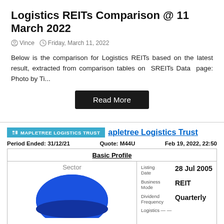Logistics REITs Comparison @ 11 March 2022
Vince   Friday, March 11, 2022
Below is the comparison for Logistics REITs based on the latest result, extracted from comparison tables on SREITs Data page: Photo by Ti...
Read More
MAPLETREE LOGISTICS TRUST   Mapletree Logistics Trust
Period Ended: 31/12/21   Quote: M44U   Feb 19, 2022, 22:50
| Basic Profile |
| --- |
| Sector | Listing Date | 28 Jul 2005 |
|  | Business Mode | REIT |
|  | Dividend Frequency | Quarterly |
|  | Logistics | ... |